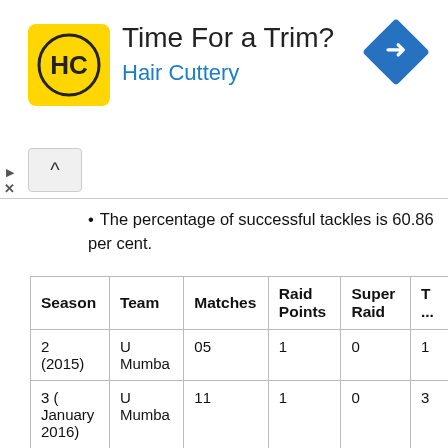[Figure (other): Advertisement banner for Hair Cuttery with yellow logo showing HC initials, text 'Time For a Trim?' and 'Hair Cuttery' in blue, and a blue navigation arrow diamond icon on the right.]
The percentage of successful tackles is 60.86 per cent.
| Season | Team | Matches | Raid Points | Super Raid | T... |
| --- | --- | --- | --- | --- | --- |
| 2 (2015) | U Mumba | 05 | 1 | 0 | 1 |
| 3 ( January 2016) | U Mumba | 11 | 1 | 0 | 3 |